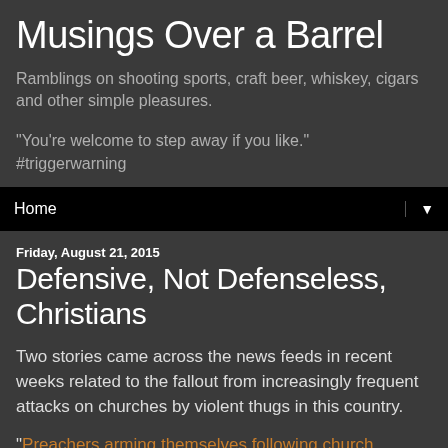Musings Over a Barrel
Ramblings on shooting sports, craft beer, whiskey, cigars and other simple pleasures.
"You're welcome to step away if you like." #triggerwarning
Home ▼
Friday, August 21, 2015
Defensive, Not Defenseless, Christians
Two stories came across the news feeds in recent weeks related to the fallout from increasingly frequent attacks on churches by violent thugs in this country.
"Preachers arming themselves following church massacre" reports on a training class for religious leaders. Clergy from